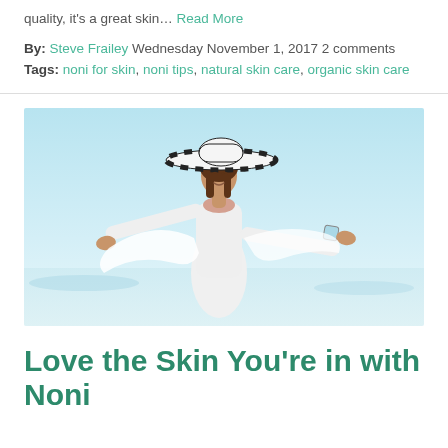quality, it's a great skin… Read More
By: Steve Frailey Wednesday November 1, 2017 2 comments Tags: noni for skin, noni tips, natural skin care, organic skin care
[Figure (photo): Woman in white dress and wide-brimmed striped hat with arms outstretched, standing outdoors with a bright sky background]
Love the Skin You're in with Noni